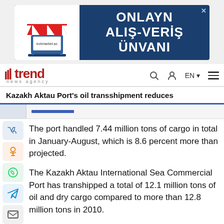[Figure (illustration): Advertisement banner for kobmarket.az showing a laptop with red/white striped awning, text: ONLAYN ALIŞ-VERİŞ ÜNVANI]
trend news agency — navigation bar with search, user, EN language selector, and menu icons
Kazakh Aktau Port's oil transshipment reduces
The port handled 7.44 million tons of cargo in total in January-August, which is 8.6 percent more than projected.
The Kazakh Aktau International Sea Commercial Port has transhipped a total of 12.1 million tons of oil and dry cargo compared to more than 12.8 million tons in 2010.